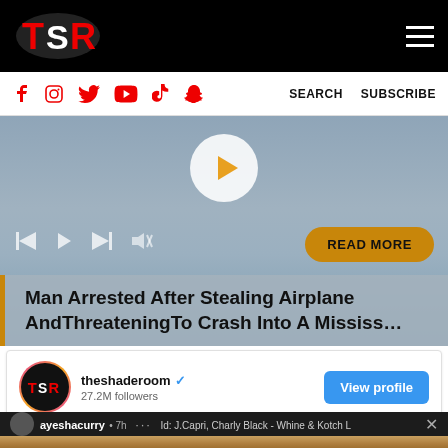TSR - The Shade Room
Social icons: Facebook, Instagram, Twitter, YouTube, TikTok, Snapchat | SEARCH | SUBSCRIBE
[Figure (screenshot): Video player showing a news story with play button, playback controls, READ MORE button, and headline: Man Arrested After Stealing Airplane AndThreateningTo Crash Into A Mississ...]
theshaderoom ✓
27.2M followers
View profile
ayeshacurry • 7h
Id: J.Capri, Charly Black - Whine & Kotch L